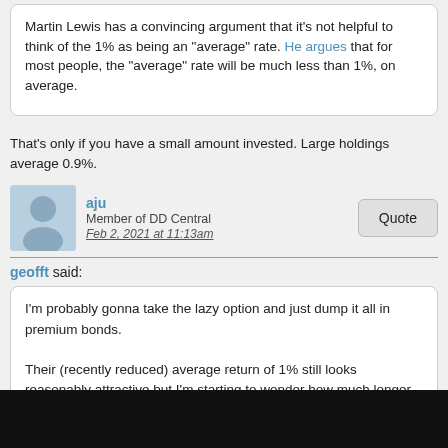Martin Lewis has a convincing argument that it's not helpful to think of the 1% as being an "average" rate. He argues that for most people, the "average" rate will be much less than 1%, on average.
That's only if you have a small amount invested. Large holdings average 0.9%.
aju
Member of DD Central
Feb 2, 2021 at 11:13am
Quote
geofft said:
I'm probably gonna take the lazy option and just dump it all in premium bonds.

Their (recently reduced) average return of 1% still looks reasonably attractive but I'm starting to wonder how much longer that rate will survive in the current climate....